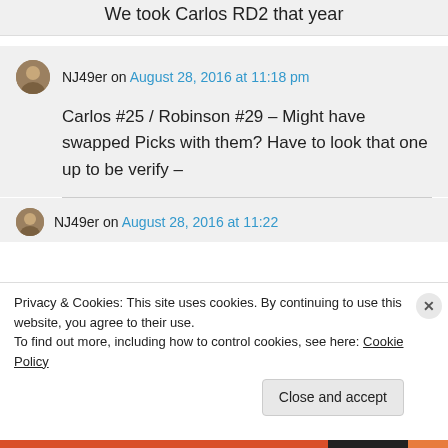We took Carlos RD2 that year
NJ49er on August 28, 2016 at 11:18 pm
Carlos #25 / Robinson #29 – Might have swapped Picks with them? Have to look that one up to be verify –
NJ49er on August 28, 2016 at 11:22
Privacy & Cookies: This site uses cookies. By continuing to use this website, you agree to their use.
To find out more, including how to control cookies, see here: Cookie Policy